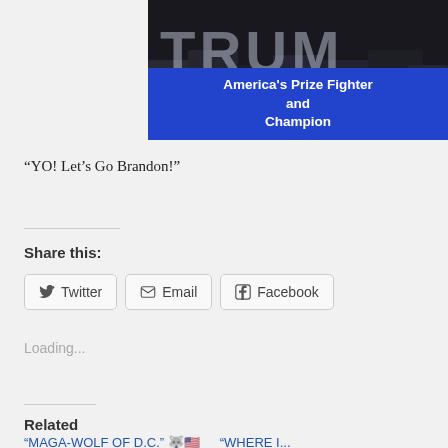[Figure (photo): Partial image of a Trump rally banner/sign with large text 'TRUM' visible at top and a blue banner below reading 'America's Prize Fighter and Champion']
“YO! Let’s Go Brandon!”
Share this:
Loading...
Related
“MAGA-WOLF OF D.C.” 🐺🇺🇸
“WHERE I...